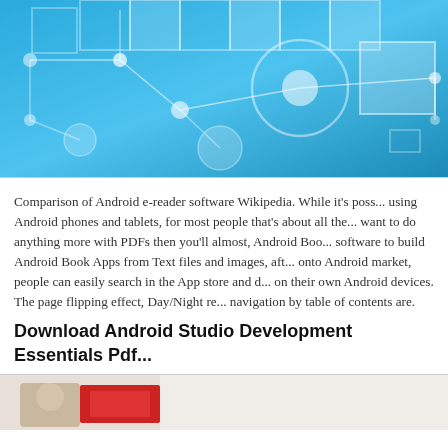[Figure (illustration): Abstract blue technology background with white geometric shapes, circles, squares, and connecting lines on a gradient blue background]
Comparison of Android e-reader software Wikipedia. While it's possible using Android phones and tablets, for most people that's about all they want to do anything more with PDFs then you'll almost, Android Book software to build Android Book Apps from Text files and images, after onto Android market, people can easily search in the App store and download on their own Android devices. The page flipping effect, Day/Night reading, navigation by table of contents are.
Download Android Studio Development Essentials Pdf
[Figure (photo): Partial photo of a person with a red book or document visible]